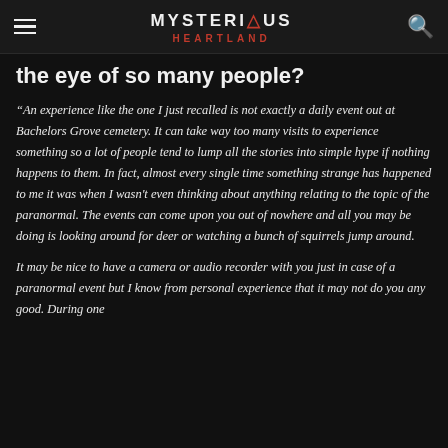MYSTERIOUS HEARTLAND
the eye of so many people?
“An experience like the one I just recalled is not exactly a daily event out at Bachelors Grove cemetery. It can take way too many visits to experience something so a lot of people tend to lump all the stories into simple hype if nothing happens to them. In fact, almost every single time something strange has happened to me it was when I wasn’t even thinking about anything relating to the topic of the paranormal. The events can come upon you out of nowhere and all you may be doing is looking around for deer or watching a bunch of squirrels jump around.
It may be nice to have a camera or audio recorder with you just in case of a paranormal event but I know from personal experience that it may not do you any good. During one